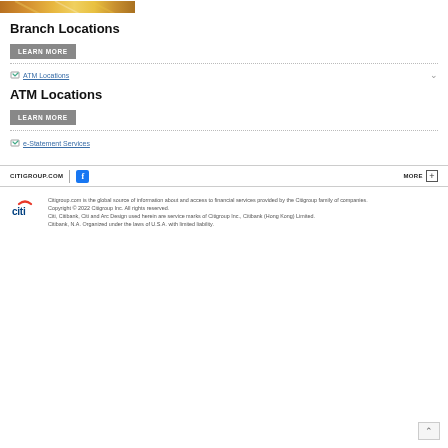[Figure (photo): Partial top image strip showing a colorful gradient scene (yellow/orange/gold tones)]
Branch Locations
LEARN MORE
ATM Locations
ATM Locations
LEARN MORE
e-Statement Services
CITIGROUP.COM   MORE +
Citigroup.com is the global source of information about and access to financial services provided by the Citigroup family of companies. Copyright © 2022 Citigroup Inc. All rights reserved. Citi, Citibank, Citi and Arc Design used herein are service marks of Citigroup Inc., Citibank (Hong Kong) Limited. Citibank, N.A. Organized under the laws of U.S.A. with limited liability.